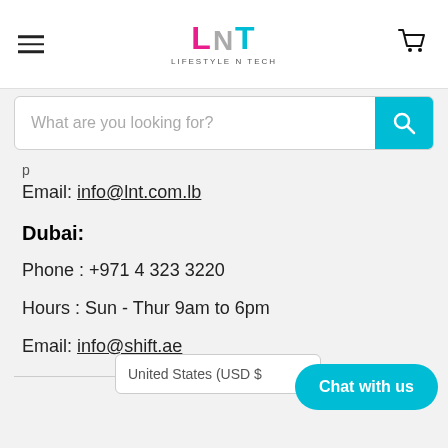[Figure (logo): LNT Lifestyle N Tech logo with hamburger menu and cart icon]
What are you looking for?
Email: info@lnt.com.lb
Dubai:
Phone : +971 4 323 3220
Hours : Sun - Thur 9am to 6pm
Email: info@shift.ae
United States (USD $
Chat with us